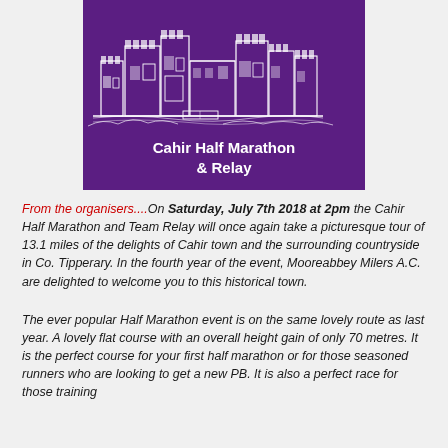[Figure (illustration): Purple banner with white line-art illustration of Cahir Castle above the text 'Cahir Half Marathon & Relay']
From the organisers....On Saturday, July 7th 2018 at 2pm the Cahir Half Marathon and Team Relay will once again take a picturesque tour of 13.1 miles of the delights of Cahir town and the surrounding countryside in Co. Tipperary.  In the fourth year of the event, Mooreabbey Milers A.C. are delighted to welcome you to this historical town.
The ever popular Half Marathon event is on the same lovely route as last year. A lovely flat course with an overall height gain of only 70 metres. It is the perfect course for your first half marathon or for those seasoned runners who are looking to get a new PB.  It is also a perfect race for those training